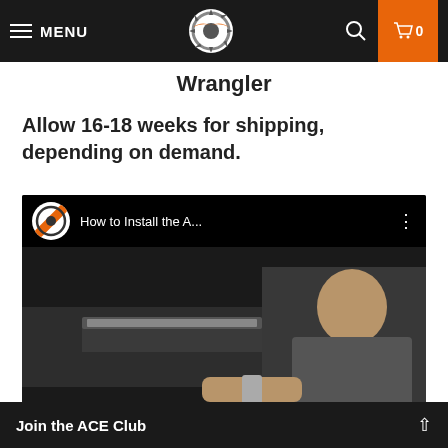MENU | ACE Logo | Search | Cart 0
Wrangler
Allow 16-18 weeks for shipping, depending on demand.
[Figure (screenshot): YouTube video thumbnail showing a man installing an ACE product on a Jeep Wrangler. Video title: 'How to Install the A...' with ACE logo and red play button.]
WARNING: California Residents...
Join the ACE Club